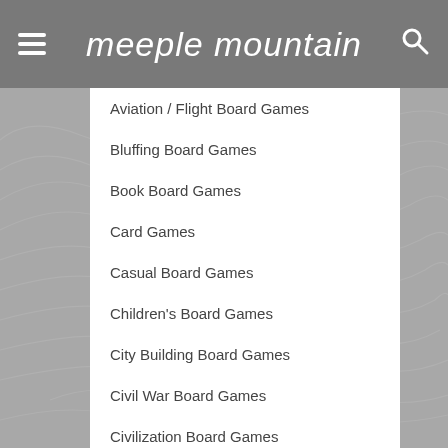meeple mountain
Aviation / Flight Board Games
Bluffing Board Games
Book Board Games
Card Games
Casual Board Games
Children's Board Games
City Building Board Games
Civil War Board Games
Civilization Board Games
Collectible Components
Comic Book / Strip
Deduction Board Games
Dice Games
Economic Board Games